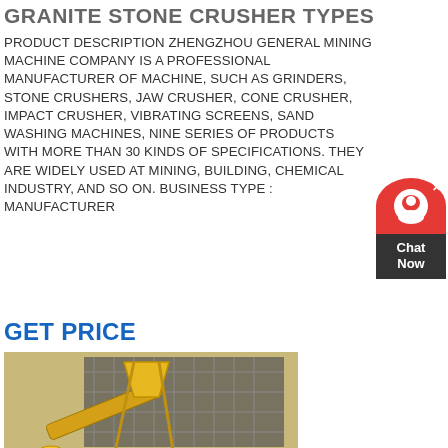GRANITE STONE CRUSHER TYPES
PRODUCT DESCRIPTION ZHENGZHOU GENERAL MINING MACHINE COMPANY IS A PROFESSIONAL MANUFACTURER OF MACHINE, SUCH AS GRINDERS, STONE CRUSHERS, JAW CRUSHER, CONE CRUSHER, IMPACT CRUSHER, VIBRATING SCREENS, SAND WASHING MACHINES, NINE SERIES OF PRODUCTS WITH MORE THAN 30 KINDS OF SPECIFICATIONS. THEY ARE WIDELY USED AT MINING, BUILDING, CHEMICAL INDUSTRY, AND SO ON. BUSINESS TYPE : MANUFACTURER
GET PRICE
[Figure (photo): A yellow mobile granite stone crusher machine on a trailer/truck chassis at a mining/construction site. The machine includes a cone crusher, conveyor belt, vibrating screen, and hopper. Workers visible at lower left. Outdoor rocky terrain background.]